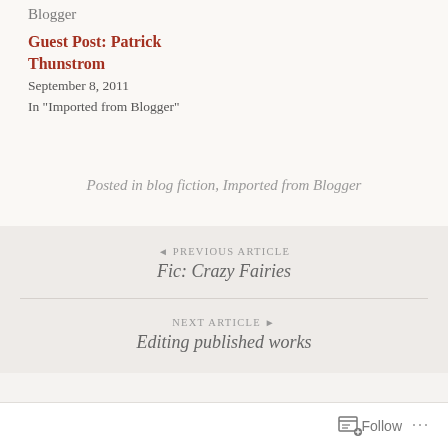Blogger
Guest Post: Patrick Thunstrom
September 8, 2011
In "Imported from Blogger"
Posted in blog fiction, Imported from Blogger
◄ PREVIOUS ARTICLE
Fic: Crazy Fairies
NEXT ARTICLE ►
Editing published works
Follow